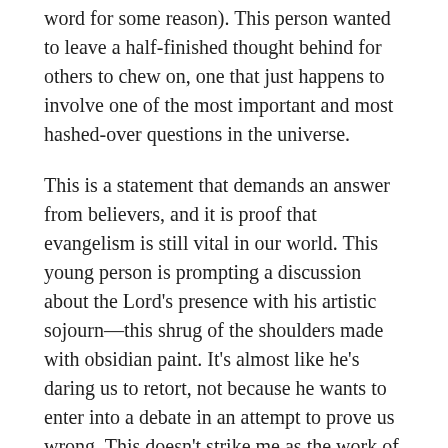word for some reason). This person wanted to leave a half-finished thought behind for others to chew on, one that just happens to involve one of the most important and most hashed-over questions in the universe.
This is a statement that demands an answer from believers, and it is proof that evangelism is still vital in our world. This young person is prompting a discussion about the Lord's presence with his artistic sojourn—this shrug of the shoulders made with obsidian paint. It's almost like he's daring us to retort, not because he wants to enter into a debate in an attempt to prove us wrong. This doesn't strike me as the work of a hardened atheist whose heart is closed to the teachings of Jesus Christ and is unwilling to hear.